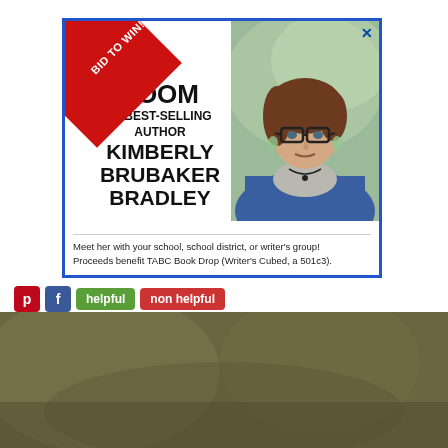[Figure (infographic): Advertisement with blue border showing 'BID TO WIN!' red diagonal banner, text 'ZOOM w/ BEST-SELLING AUTHOR KIMBERLY BRUBAKER BRADLEY', photo of woman with glasses and brown hair, and text about meeting her with school or writer's group.]
Meet her with your school, school district, or writer's group! Proceeds benefit TABC Book Drop (Writer's Cubed, a 501c3).
[Figure (screenshot): Social sharing bar with Pinterest and Facebook icons, and 'helpful' and 'non helpful' buttons in green and red respectively.]
[Figure (photo): Dark olive/khaki background image with large white bold text reading 'WHEN YOU' at the bottom.]